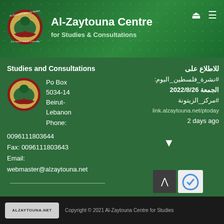[Figure (logo): Al-Zaytouna Centre logo - circular emblem with tree]
Al-Zaytouna Centre
for Studies & Consultations
Studies and Consultations
Po Box 5034-14 Beirut-Lebanon Phone:
00961 11803644
Fax: 00961 11803643
Email:
webmaster@alzaytouna.net
للاطلاع على
#نشرة_فلسطين_اليوم:
الجمعة 2022/8/26
#مركز_الزيتونة
link.alzaytouna.net/ptoday
2 days ago
Copyright © 2021 Al-Zaytouna Centre for Studies